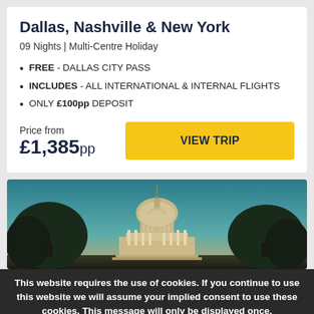Dallas, Nashville & New York
09 Nights | Multi-Centre Holiday
FREE - DALLAS CITY PASS
INCLUDES - ALL INTERNATIONAL & INTERNAL FLIGHTS
ONLY £100pp DEPOSIT
Price from £1,385pp
[Figure (photo): Photograph of the US Capitol building dome at dusk/sunset with trees in the foreground and a teal sky]
This website requires the use of cookies. If you continue to use this website we will assume your implied consent to use these cookies. This message will only be displayed once.